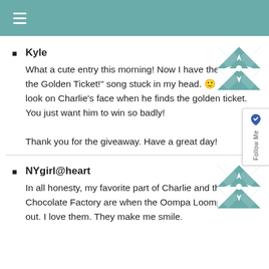≡
Kyle
What a cute entry this morning! Now I have the "I've got the Golden Ticket!" song stuck in my head. 🙂 I love the look on Charlie's face when he finds the golden ticket. You just want him to win so badly!

Thank you for the giveaway. Have a great day!
NYgirl@heart
In all honesty, my favorite part of Charlie and the Chocolate Factory are when the Oompa Loompas come out. I love them. They make me smile.